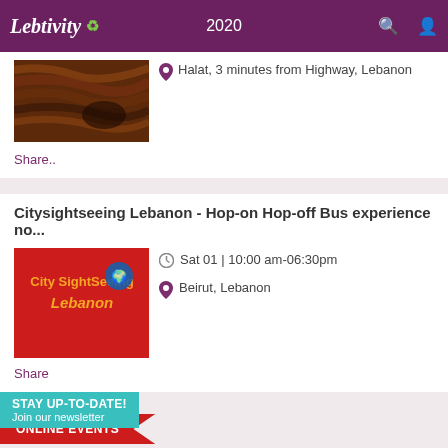Lebtivity 2020
Halat, 3 minutes from Highway, Lebanon
Share..
Citysightseeing Lebanon - Hop-on Hop-off Bus experience no...
Sat 01 | 10:00 am-06:30pm
Beirut, Lebanon
Share
STAY UP-TO-DATE! Join our newsletter
ONLINE EVENTS
Escape the World / Escape Room
Sat 01 | 11:00 am-11:00pm
Beirut, Lebanon